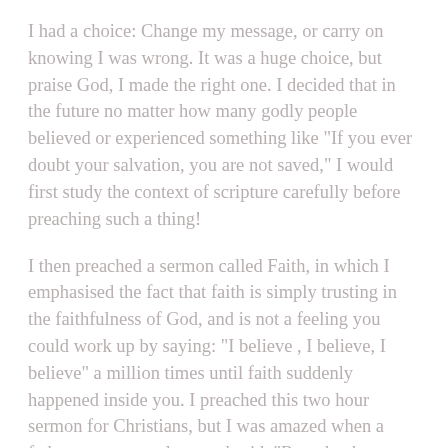I had a choice: Change my message, or carry on knowing I was wrong. It was a huge choice, but praise God, I made the right one. I decided that in the future no matter how many godly people believed or experienced something like "If you ever doubt your salvation, you are not saved," I would first study the context of scripture carefully before preaching such a thing!
I then preached a sermon called Faith, in which I emphasised the fact that faith is simply trusting in the faithfulness of God, and is not a feeling you could work up by saying: "I believe , I believe, I believe" a million times until faith suddenly happened inside you. I preached this two hour sermon for Christians, but I was amazed when a father came to me later and said, "Roy, thank you so much for that sermon. My son could never believe